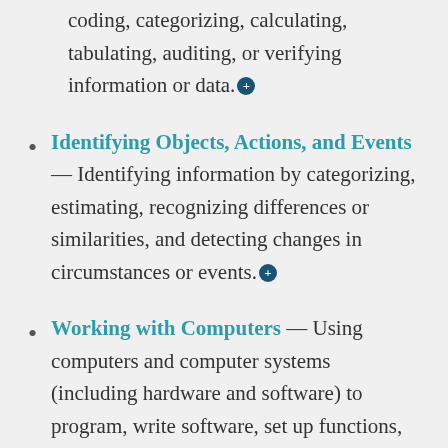coding, categorizing, calculating, tabulating, auditing, or verifying information or data.
Identifying Objects, Actions, and Events — Identifying information by categorizing, estimating, recognizing differences or similarities, and detecting changes in circumstances or events.
Working with Computers — Using computers and computer systems (including hardware and software) to program, write software, set up functions, enter data, or process information.